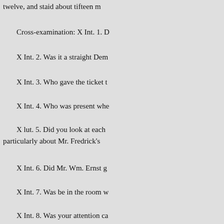twelve, and staid about tifteen m
Cross-examination: X Int. 1. D
X Int. 2. Was it a straight Dem
X Int. 3. Who gave the ticket t
X Int. 4. Who was present whe
X lut. 5. Did you look at each particularly about Mr. Fredrick's
X Int. 6. Did Mr. Wm. Ernst g
X Int. 7. Was be in the room w
X Int. 8. Was your attention ca
Ans. No, sir; by nobody. X Int. 9
Subscribed and sworn to before m D. 1883. (SEAL.]
J. M. WEBBER, being produc
Int. 1. State your name, age, plac reside in Taylor Township, Mars